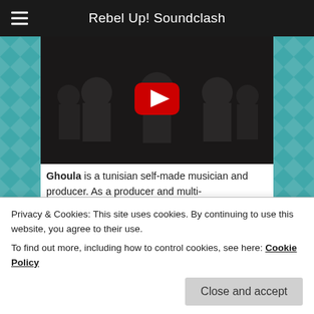Rebel Up! Soundclash
[Figure (screenshot): YouTube video thumbnail showing dark figures/silhouettes with a red YouTube play button in the center]
Ghoula is a tunisian self-made musician and producer. As a producer and multi-instrumentalist, Ghoula creates genre-defying sets through both acoustics and samples. His debut album 'Hlib el Ghoula' was released on Shouka label and is now preparing his second album.
LISTEN HERE
Privacy & Cookies: This site uses cookies. By continuing to use this website, you agree to their use.
To find out more, including how to control cookies, see here: Cookie Policy
Close and accept
Radio last week.